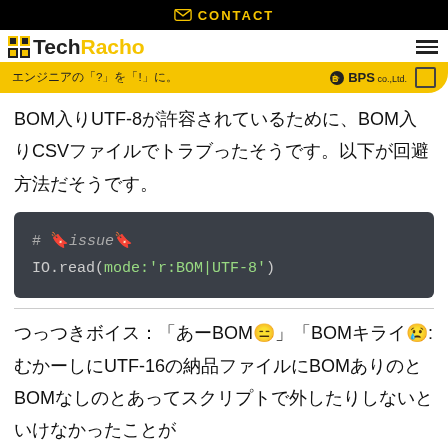CONTACT
TechRacho
エンジニアの「?」を「!」に。 BPS co.,Ltd.
BOM入りUTF-8が許容されているために、BOM入りCSVファイルでトラブったそうです。以下が回避方法だそうです。
[Figure (screenshot): Code block showing: # 🔖issue🔖  IO.read(mode:'r:BOM|UTF-8')]
つっつきボイス：「あーBOM😑」「BOMキライ😢:むかーしにUTF-16の納品ファイルにBOMありのとBOMなしのとあってスクリプトで外したりしないといけなかったことが